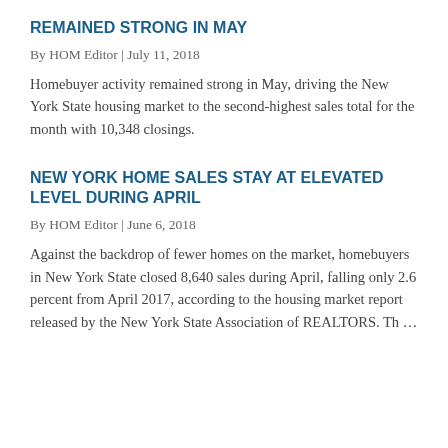REMAINED STRONG IN MAY
By HOM Editor | July 11, 2018
Homebuyer activity remained strong in May, driving the New York State housing market to the second-highest sales total for the month with 10,348 closings.
NEW YORK HOME SALES STAY AT ELEVATED LEVEL DURING APRIL
By HOM Editor | June 6, 2018
Against the backdrop of fewer homes on the market, homebuyers in New York State closed 8,640 sales during April, falling only 2.6 percent from April 2017, according to the housing market report released by the New York State Association of REALTORS. Th …